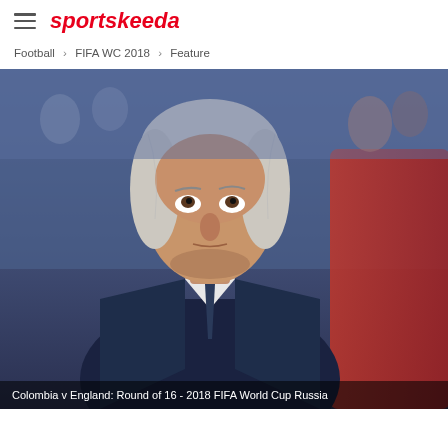sportskeeda
Football > FIFA WC 2018 > Feature
[Figure (photo): A man with white hair wearing a dark suit and tie looking upward, photographed at a football stadium. Caption: Colombia v England: Round of 16 - 2018 FIFA World Cup Russia]
Colombia v England: Round of 16 - 2018 FIFA World Cup Russia